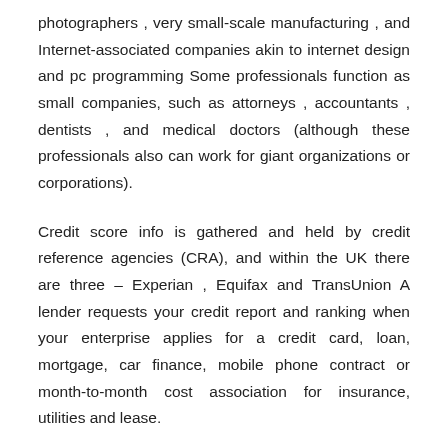photographers , very small-scale manufacturing , and Internet-associated companies akin to internet design and pc programming Some professionals function as small companies, such as attorneys , accountants , dentists , and medical doctors (although these professionals also can work for giant organizations or corporations).
Credit score info is gathered and held by credit reference agencies (CRA), and within the UK there are three – Experian , Equifax and TransUnion A lender requests your credit report and ranking when your enterprise applies for a credit card, loan, mortgage, car finance, mobile phone contract or month-to-month cost association for insurance, utilities and lease.
Research from the U.S. Small Business Administration indicates that staff of huge firms are 17% extra likely to receive advantages together with salary, paid go-away, paid trip, bonuses, insurance